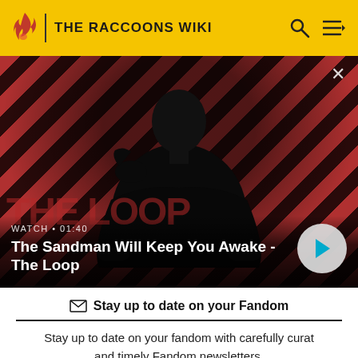THE RACCOONS WIKI
[Figure (screenshot): Video thumbnail showing a dark-clad figure with a raven on shoulder against a red and dark diagonal striped background. Text overlay reads WATCH • 01:40 and The Sandman Will Keep You Awake - The Loop with a play button.]
Stay up to date on your Fandom
Stay up to date on your fandom with carefully curat and timely Fandom newsletters.